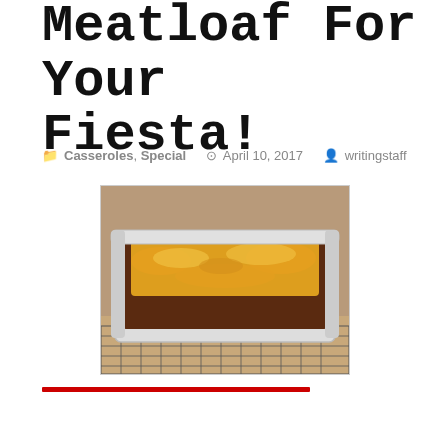Meatloaf For Your Fiesta!
Casseroles, Special  ⊙ April 10, 2017  writingstaff
[Figure (photo): A white rectangular baking dish filled with meatloaf topped with melted cheese, sitting on a wire cooling rack. The background is brown/tan colored.]